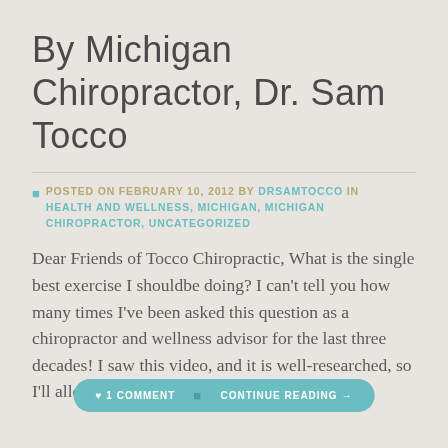By Michigan Chiropractor, Dr. Sam Tocco
POSTED ON FEBRUARY 10, 2012 BY DRSAMTOCCO IN HEALTH AND WELLNESS, MICHIGAN, MICHIGAN CHIROPRACTOR, UNCATEGORIZED
Dear Friends of Tocco Chiropractic, What is the single best exercise I shouldbe doing? I can't tell you how many times I've been asked this question as a chiropractor and wellness advisor for the last three decades! I saw this video, and it is well-researched, so I'll allow it to speak to what I've been [...]
1 COMMENT  CONTINUE READING →